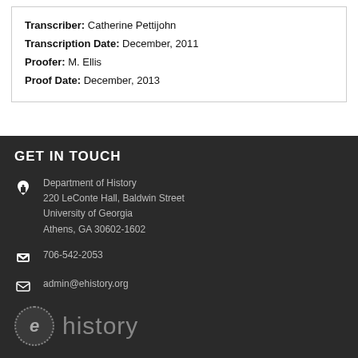Transcriber: Catherine Pettijohn
Transcription Date: December, 2011
Proofer: M. Ellis
Proof Date: December, 2013
GET IN TOUCH
Department of History
220 LeConte Hall, Baldwin Street
University of Georgia
Athens, GA 30602-1602
706-542-2053
admin@ehistory.org
[Figure (logo): eHistory logo: circular 'e' icon followed by the word 'history' in grey text]